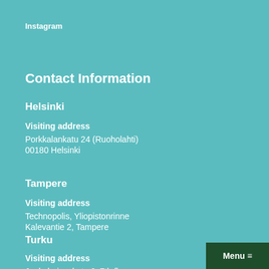Instagram
Contact Information
Helsinki
Visiting address
Porkkalankatu 24 (Ruoholahti)
00180 Helsinki
Tampere
Visiting address
Technopolis, Yliopistonrinne
Kalevantie 2, Tampere
Turku
Visiting address
Joukahaisenkatu 6, 7th floor
Menu ≡